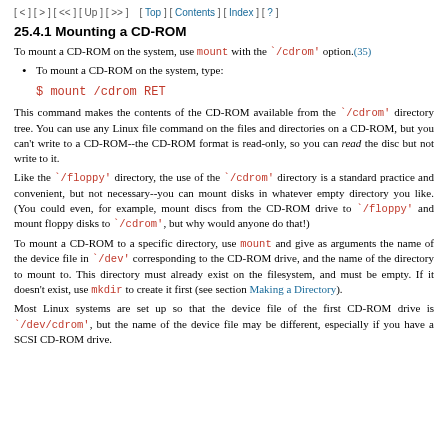[ < ] [ > ] [ << ] [ Up ] [ >> ]   [ Top ] [ Contents ] [ Index ] [ ? ]
25.4.1 Mounting a CD-ROM
To mount a CD-ROM on the system, use mount with the `/cdrom' option.(35)
To mount a CD-ROM on the system, type:
$ mount /cdrom RET
This command makes the contents of the CD-ROM available from the `/cdrom' directory tree. You can use any Linux file command on the files and directories on a CD-ROM, but you can't write to a CD-ROM--the CD-ROM format is read-only, so you can read the disc but not write to it.
Like the `/floppy' directory, the use of the `/cdrom' directory is a standard practice and convenient, but not necessary--you can mount disks in whatever empty directory you like. (You could even, for example, mount discs from the CD-ROM drive to `/floppy' and mount floppy disks to `/cdrom', but why would anyone do that!)
To mount a CD-ROM to a specific directory, use mount and give as arguments the name of the device file in `/dev' corresponding to the CD-ROM drive, and the name of the directory to mount to. This directory must already exist on the filesystem, and must be empty. If it doesn't exist, use mkdir to create it first (see section Making a Directory).
Most Linux systems are set up so that the device file of the first CD-ROM drive is `/dev/cdrom', but the name of the device file may be different, especially if you have a SCSI CD-ROM drive.